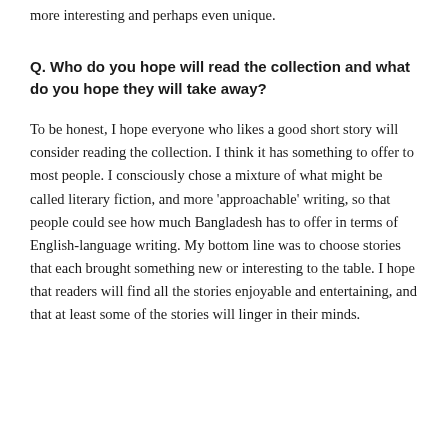more interesting and perhaps even unique.
Q. Who do you hope will read the collection and what do you hope they will take away?
To be honest, I hope everyone who likes a good short story will consider reading the collection. I think it has something to offer to most people. I consciously chose a mixture of what might be called literary fiction, and more 'approachable' writing, so that people could see how much Bangladesh has to offer in terms of English-language writing. My bottom line was to choose stories that each brought something new or interesting to the table. I hope that readers will find all the stories enjoyable and entertaining, and that at least some of the stories will linger in their minds.